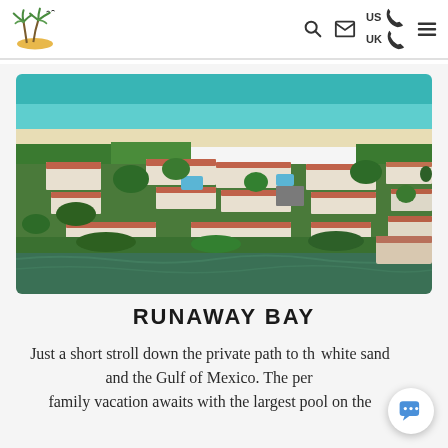Navigation bar with palm tree island logo, search icon, mail icon, US/UK phone icons, and menu icon
[Figure (photo): Aerial drone photograph of Runaway Bay resort complex showing beige and terracotta-roofed buildings arranged around courtyards and pools, surrounded by lush green trees, with a canal/bay at the bottom, and the Gulf of Mexico with turquoise water and white sand beach at the top]
RUNAWAY BAY
Just a short stroll down the private path to the white sand and the Gulf of Mexico. The perfect family vacation awaits with the largest pool on the